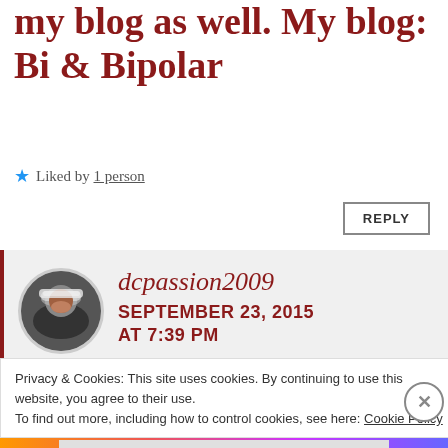my blog as well. My blog: Bi & Bipolar
★ Liked by 1 person
REPLY
dcpassion2009 SEPTEMBER 23, 2015 AT 7:39 PM
Privacy & Cookies: This site uses cookies. By continuing to use this website, you agree to their use.
To find out more, including how to control cookies, see here: Cookie Policy
Close and accept